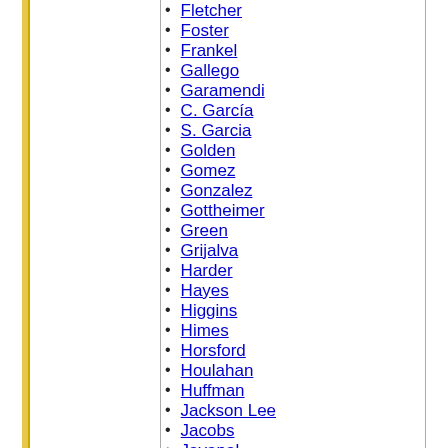Fletcher
Foster
Frankel
Gallego
Garamendi
C. García
S. Garcia
Golden
Gomez
Gonzalez
Gottheimer
Green
Grijalva
Harder
Hayes
Higgins
Himes
Horsford
Houlahan
Huffman
Jackson Lee
Jacobs
Jayapal
Jeffries
F. Johnson